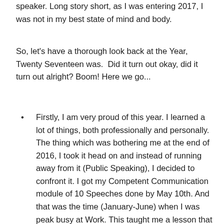speaker. Long story short, as I was entering 2017, I was not in my best state of mind and body.
So, let's have a thorough look back at the Year, Twenty Seventeen was.  Did it turn out okay, did it turn out alright? Boom! Here we go...
Firstly, I am very proud of this year. I learned a lot of things, both professionally and personally. The thing which was bothering me at the end of 2016, I took it head on and instead of running away from it (Public Speaking), I decided to confront it. I got my Competent Communication module of 10 Speeches done by May 10th. And that was the time (January-June) when I was peak busy at Work. This taught me a lesson that when one is super busy and focused at work, that is the time when the brain is at its optimum energy level to do things